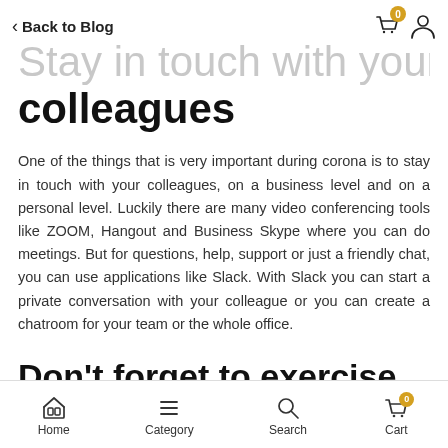Back to Blog
Stay in touch with your colleagues
One of the things that is very important during corona is to stay in touch with your colleagues, on a business level and on a personal level. Luckily there are many video conferencing tools like ZOOM, Hangout and Business Skype where you can do meetings. But for questions, help, support or just a friendly chat, you can use applications like Slack. With Slack you can start a private conversation with your colleague or you can create a chatroom for your team or the whole office.
Don't forget to exercise
Home  Category  Search  Cart